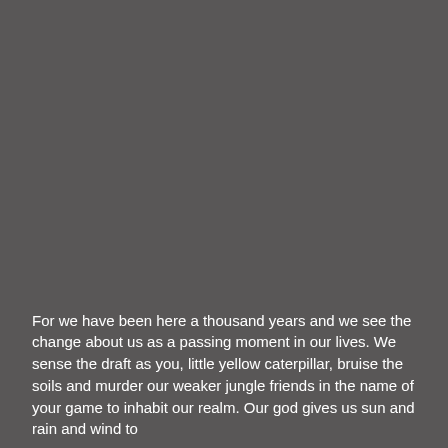[Figure (photo): Large dark gray/charcoal background image occupying the upper portion of the page]
For we have been here a thousand years and we see the change about us as a passing moment in our lives. We sense the draft as you, little yellow caterpillar, bruise the soils and murder our weaker jungle friends in the name of your game to inhabit our realm. Our god gives us sun and rain and wind to